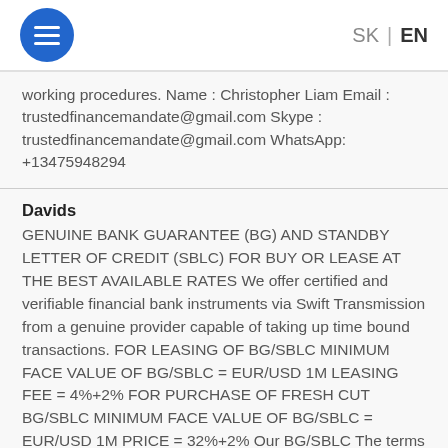SK | EN
working procedures. Name : Christopher Liam Email : trustedfinancemandate@gmail.com Skype : trustedfinancemandate@gmail.com WhatsApp: +13475948294
Davids
GENUINE BANK GUARANTEE (BG) AND STANDBY LETTER OF CREDIT (SBLC) FOR BUY OR LEASE AT THE BEST AVAILABLE RATES We offer certified and verifiable financial bank instruments via Swift Transmission from a genuine provider capable of taking up time bound transactions. FOR LEASING OF BG/SBLC MINIMUM FACE VALUE OF BG/SBLC = EUR/USD 1M LEASING FEE = 4%+2% FOR PURCHASE OF FRESH CUT BG/SBLC MINIMUM FACE VALUE OF BG/SBLC = EUR/USD 1M PRICE = 32%+2% Our BG/SBLC The terms and...